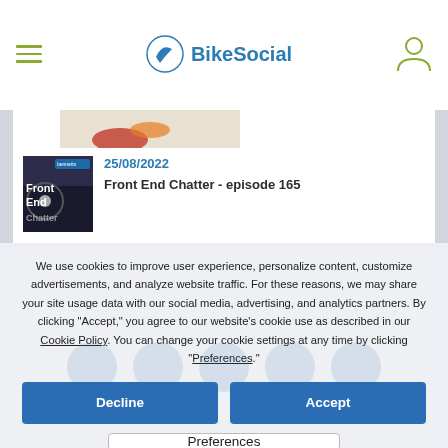BikeSocial
[Figure (screenshot): Thumbnail image for Front End Chatter episode 165 article showing motorcycle front end with Front End Chatter text overlay]
25/08/2022
Front End Chatter - episode 165
We use cookies to improve user experience, personalize content, customize advertisements, and analyze website traffic. For these reasons, we may share your site usage data with our social media, advertising, and analytics partners. By clicking "Accept," you agree to our website's cookie use as described in our Cookie Policy. You can change your cookie settings at any time by clicking “Preferences.”
Decline
Accept
Preferences